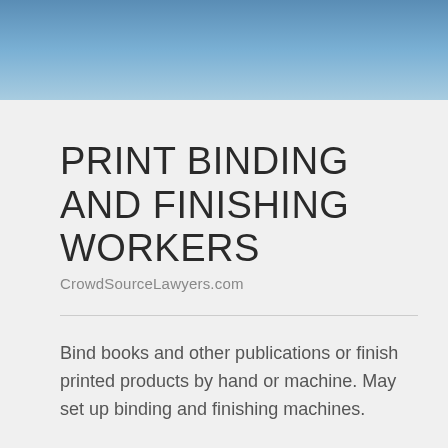PRINT BINDING AND FINISHING WORKERS
CrowdSourceLawyers.com
Bind books and other publications or finish printed products by hand or machine. May set up binding and finishing machines.
Sample of reported job titles: Binder